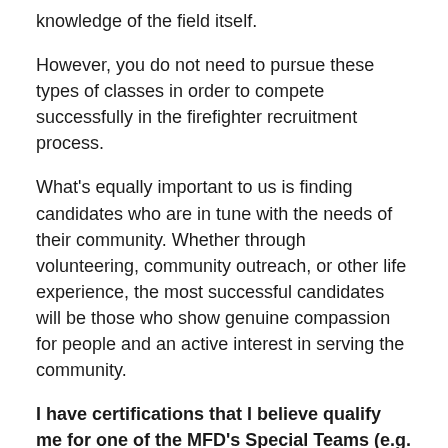knowledge of the field itself.
However, you do not need to pursue these types of classes in order to compete successfully in the firefighter recruitment process.
What's equally important to us is finding candidates who are in tune with the needs of their community. Whether through volunteering, community outreach, or other life experience, the most successful candidates will be those who show genuine compassion for people and an active interest in serving the community.
I have certifications that I believe qualify me for one of the MFD's Special Teams (e.g. Hazmat, Lake Rescue, Heavy Urban Rescue). What do I need to do to join a Special Team?
To become a member of any of our special teams, you